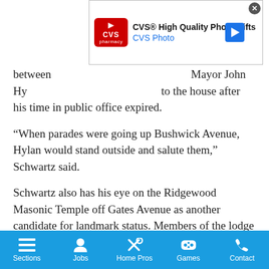[Figure (other): CVS Pharmacy advertisement banner: 'CVS® High Quality Photo Gifts' / 'CVS Photo' with CVS Pharmacy logo, a navigation arrow icon, and a close button.]
between [ad] Mayor John Hy[lan] [returned] to the house after his time in public office expired.
“When parades were going up Bushwick Avenue, Hylan would stand outside and salute them,” Schwartz said.
Schwartz also has his eye on the Ridgewood Masonic Temple off Gates Avenue as another candidate for landmark status. Members of the lodge put it up for sale this summer with an asking price of $1 million, but recently pulled it from the down market.
“The Masonic Lodge is a reflection of the heritage of the neighborhood,” Schwartz said.
Two buildings on Bushwick Avenue have already been landmarked by the city: the Andrew Carnegie-funded Classical Revival-style
Sections | Jobs | Home Pros | Games | Contact